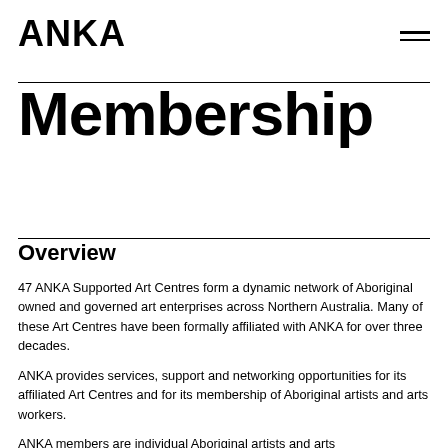ANKA
Membership
Overview
47 ANKA Supported Art Centres form a dynamic network of Aboriginal owned and governed art enterprises across Northern Australia. Many of these Art Centres have been formally affiliated with ANKA for over three decades.
ANKA provides services, support and networking opportunities for its affiliated Art Centres and for its membership of Aboriginal artists and arts workers.
ANKA members are individual Aboriginal artists and arts